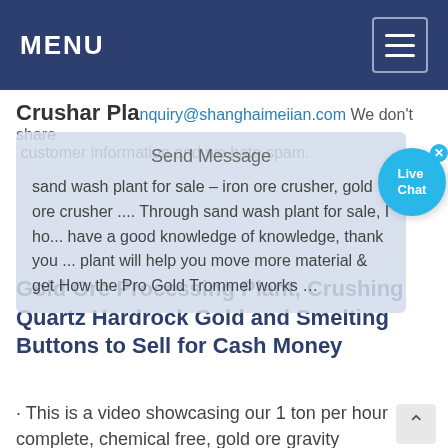MENU
Crushar Pla  inquiry@shanghaimeiian.com We don't share customer information and we hate spam.
Send Message
sand wash plant for sale – iron ore crusher, gold ore crusher .... Through sand wash plant for sale, I ho... have a good knowledge of knowledge, thank you ... plant will help you move more material & get How the Pro Gold Trommel works …
Gold Ore Processing Plant, Crushing Quartz Hardrock Gold and Smelting Buttons to Sell for Cash Money
· This is a video showcasing our 1 ton per hour complete, chemical free, gold ore gravity processing plant. This system is specifically designed for the small...